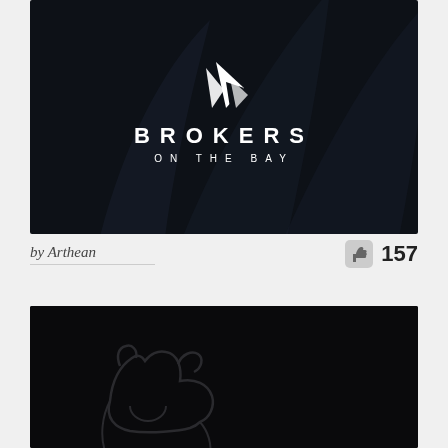[Figure (logo): Brokers on the Bay logo — white sailing/leaf icon above bold white uppercase text 'BROKERS' and smaller spaced text 'ON THE BAY' on a very dark navy background with a subtle large leaf/sail watermark]
by Arthean
157
[Figure (illustration): Dark near-black background with a subtle dark gray outline illustration of a bear or large animal silhouette]